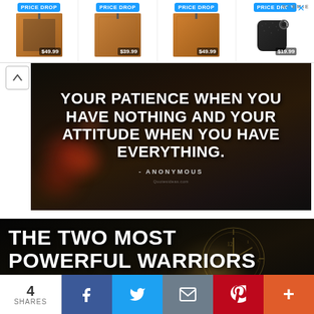[Figure (screenshot): Advertisement banner with 4 product items showing leather phone cases and AirPods case, all labeled PRICE DROP with prices $49.99, $39.99, $49.99, $19.99. NOEMIE brand logo visible.]
[Figure (photo): Motivational quote image on dark bokeh background with autumn leaves. Text reads: YOUR PATIENCE WHEN YOU HAVE NOTHING AND YOUR ATTITUDE WHEN YOU HAVE EVERYTHING. - ANONYMOUS]
[Figure (photo): Motivational quote image with pocket watch on dark background. Text reads: THE TWO MOST POWERFUL WARRIORS]
[Figure (infographic): Social sharing bar at the bottom with share count 4 SHARES and buttons for Facebook, Twitter, Email, Pinterest, and More (+).]